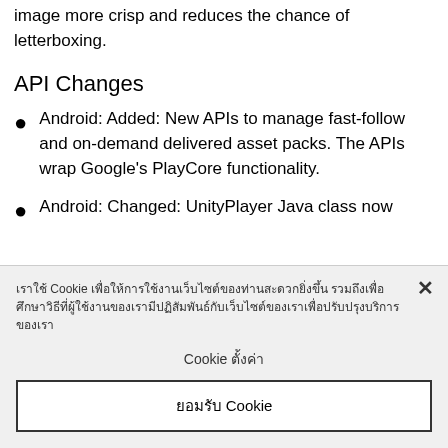image more crisp and reduces the chance of letterboxing.
API Changes
Android: Added: New APIs to manage fast-follow and on-demand delivered asset packs. The APIs wrap Google's PlayCore functionality.
Android: Changed: UnityPlayer Java class now
เราใช้ Cookie เพื่อให้การใช้งานเว็บไซต์ของท่านสะดวกยิ่งขึ้น รวมถึงเพื่อศึกษาวิธีที่ผู้ใช้งานของเรามีปฏิสัมพันธ์กับเว็บไซต์ของเราเพื่อปรับปรุงบริการของเรา
Cookie ตั้งค่า
ยอมรับ Cookie